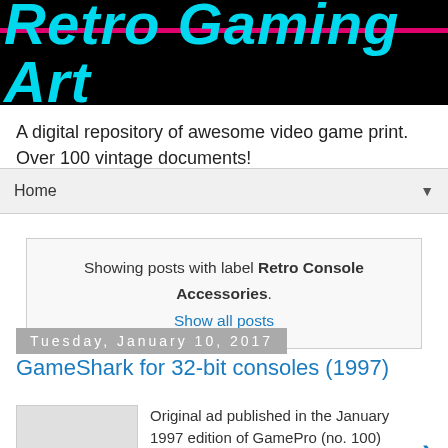Retro Gaming Art
A digital repository of awesome video game print. Over 100 vintage documents!
Home
Showing posts with label Retro Console Accessories. Show all posts
Tuesday, January 10, 2017
GameShark for 32-bit consoles (1997)
Original ad published in the January 1997 edition of GamePro (no. 100) Press to view or download image in higher resolution. Ri...